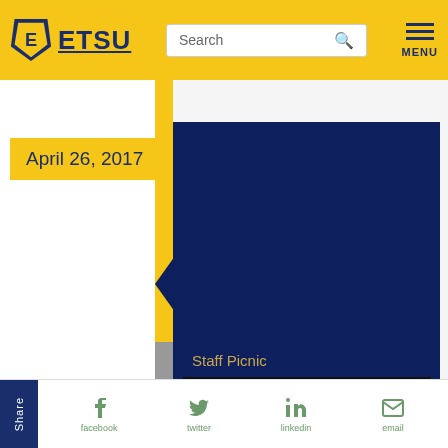ETSU
April 26, 2017
[Figure (screenshot): ETSU Notepads in 90 video thumbnail with play button, showing 'NOTEPADS in 90 with Dr. Brian Noland' title on dark background]
Staff Picnic
Share | facebook | twitter | linkedin | email